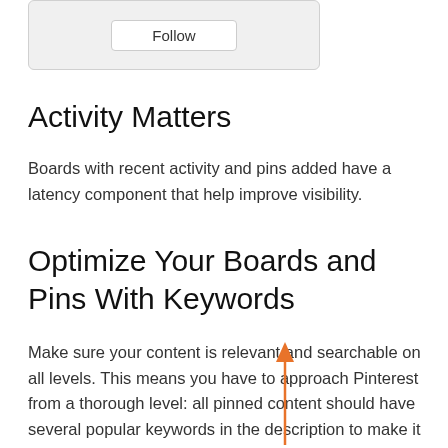[Figure (screenshot): Screenshot of a Follow button UI element with rounded rectangle border on a light gray background]
Activity Matters
Boards with recent activity and pins added have a latency component that help improve visibility.
Optimize Your Boards and Pins With Keywords
Make sure your content is relevant and searchable on all levels. This means you have to approach Pinterest from a thorough level: all pinned content should have several popular keywords in the description to make it easily searchable. It also helps to pin an image
[Figure (illustration): Orange upward-pointing arrow annotation overlaid on the text]